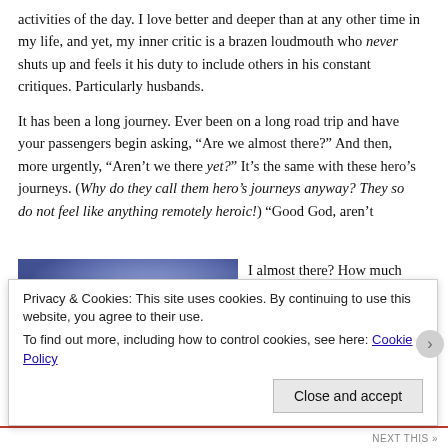activities of the day. I love better and deeper than at any other time in my life, and yet, my inner critic is a brazen loudmouth who never shuts up and feels it his duty to include others in his constant critiques. Particularly husbands.
It has been a long journey. Ever been on a long road trip and have your passengers begin asking, “Are we almost there?” And then, more urgently, “Aren’t we there yet?” It’s the same with these hero’s journeys. (Why do they call them hero’s journeys anyway? They so do not feel like anything remotely heroic!) “Good God, aren’t I almost there? How much longer? This sure looks
[Figure (photo): Abstract colorful painting with purple, blue, orange, and gold tones suggesting a landscape or abstract form]
Privacy & Cookies: This site uses cookies. By continuing to use this website, you agree to their use.
To find out more, including how to control cookies, see here: Cookie Policy
Close and accept